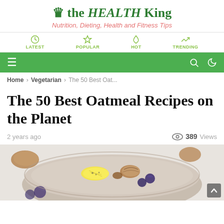♛ the HEALTH King
Nutrition, Dieting, Health and Fitness Tips
LATEST | POPULAR | HOT | TRENDING
≡ (menu) 🔍 (search) ☾ (dark mode)
Home › Vegetarian › The 50 Best Oat...
The 50 Best Oatmeal Recipes on the Planet
2 years ago   389 Views
[Figure (photo): Bowl of oatmeal topped with banana slices, blueberries, walnuts, and raisins on a light background]